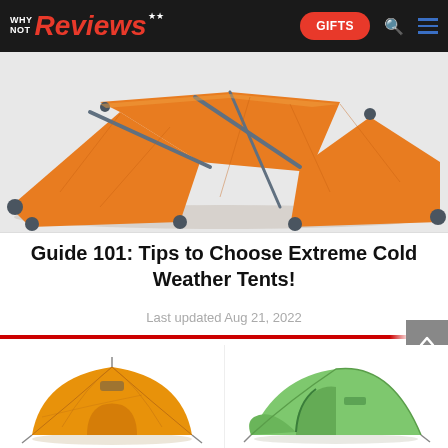WHY NOT Reviews — GIFTS
[Figure (photo): Orange extreme cold weather tent laid flat, shown from above with gray poles and tie-down straps visible]
Guide 101: Tips to Choose Extreme Cold Weather Tents!
Last updated Aug 21, 2022
[Figure (photo): Two tents side by side: left is an orange geodesic/dome expedition tent, right is a green backpacking tent]
[Figure (photo): Bottom of a third tent partially visible at the bottom edge of the page (white/silver)]